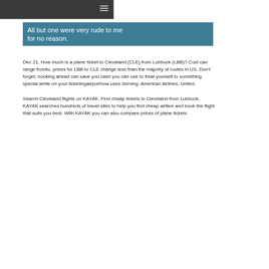≡
All but one were very rude to me for no reason.
Dec 21, How much is a plane ticket to Cleveland (CLE) from Lubbock (LBB)? Cost can range fromto, prices for LBB to CLE change less than the majority of routes in US. Don't forget, booking ahead can save you cash you can use to treat yourself to something special while on your ticketingairportnow.uses Serving: American Airlines, United.
Search Cleveland flights on KAYAK. Find cheap tickets to Cleveland from Lubbock. KAYAK searches hundreds of travel sites to help you find cheap airfare and book the flight that suits you best. With KAYAK you can also compare prices of plane tickets